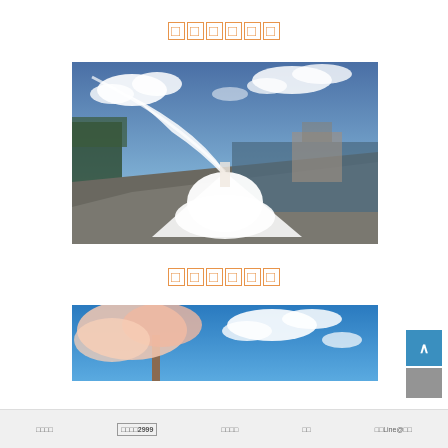□□□□□□
[Figure (photo): Bride in white wedding dress with long flowing veil on a riverside promenade, dramatic sky with clouds, dramatic wide-angle outdoor wedding photo]
□□□□□□
[Figure (photo): Cherry blossoms with bright blue sky and white clouds, partially visible outdoor spring scene]
□□□□  □□□□2999  □□□□  □□  □□Line@□□